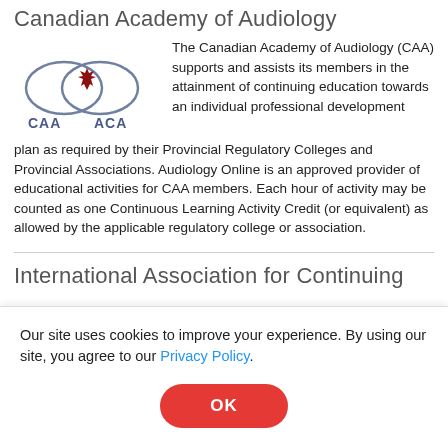Canadian Academy of Audiology
[Figure (logo): CAA / ACA logo with maple leaf and interlocking circles]
The Canadian Academy of Audiology (CAA) supports and assists its members in the attainment of continuing education towards an individual professional development plan as required by their Provincial Regulatory Colleges and Provincial Associations. Audiology Online is an approved provider of educational activities for CAA members. Each hour of activity may be counted as one Continuous Learning Activity Credit (or equivalent) as allowed by the applicable regulatory college or association.
International Association for Continuing
Our site uses cookies to improve your experience. By using our site, you agree to our Privacy Policy.